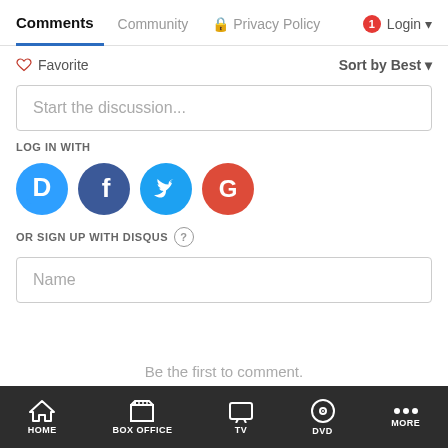Comments | Community | Privacy Policy | Login
♡ Favorite    Sort by Best ▾
Start the discussion...
LOG IN WITH
[Figure (infographic): Social login icons: Disqus (blue circle with D), Facebook (dark blue circle with f), Twitter (light blue circle with bird), Google (red circle with G)]
OR SIGN UP WITH DISQUS ?
Name
Be the first to comment.
HOME | BOX OFFICE | TV | DVD | MORE